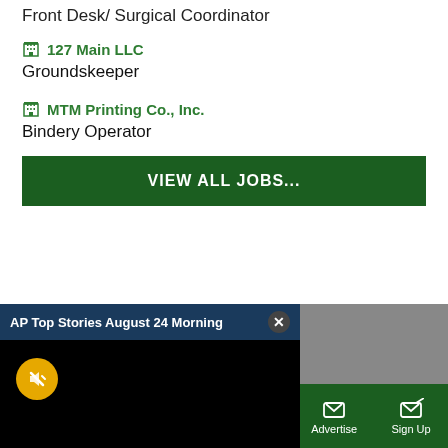Front Desk/ Surgical Coordinator
127 Main LLC
Groundskeeper
MTM Printing Co., Inc.
Bindery Operator
VIEW ALL JOBS...
[Figure (screenshot): AP Top Stories August 24 Morning video popup with dark background, mute button, and loading indicator]
ewsflashes
Sections | NY Edition | Philly | Games | Advertise | Sign Up